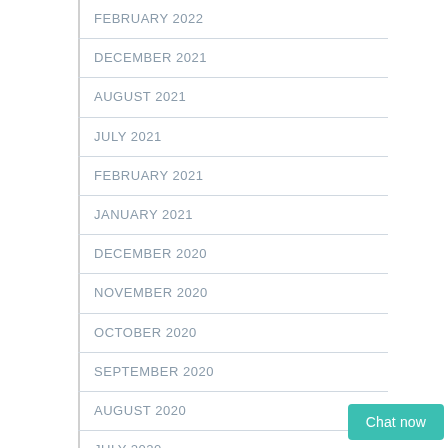FEBRUARY 2022
DECEMBER 2021
AUGUST 2021
JULY 2021
FEBRUARY 2021
JANUARY 2021
DECEMBER 2020
NOVEMBER 2020
OCTOBER 2020
SEPTEMBER 2020
AUGUST 2020
JULY 2020
Chat now